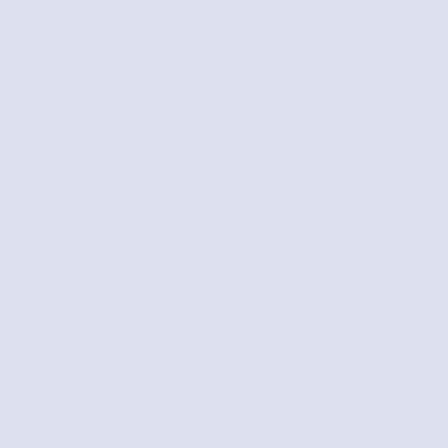inclusive isolated-pho... production in proton-p...
Measurement of differe... pair production in ass... and 13 TeV
Measurement of exclusi... protons in pPb collisi...
Measurement of inclusi... production cross secti... in proton-proton colli...
Measurement of nuclear... gamma(1S)), gamma(2S),... collisions at root s(N...
Measurement of prompt ... in proton-lead and pro... s(NN)=5.02 TeV
Measurement of the ene... pseudorapidity in prot... TeV
Measurement of the top... final state at root s=... lepton plus jets chann...
Measurement of the t(t... ...